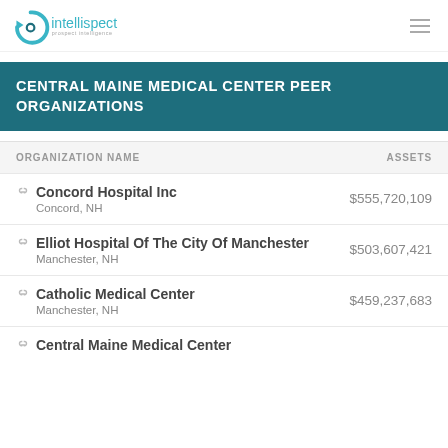intellispect
CENTRAL MAINE MEDICAL CENTER PEER ORGANIZATIONS
| ORGANIZATION NAME | ASSETS |
| --- | --- |
| Concord Hospital Inc
Concord, NH | $555,720,109 |
| Elliot Hospital Of The City Of Manchester
Manchester, NH | $503,607,421 |
| Catholic Medical Center
Manchester, NH | $459,237,683 |
| Central Maine Medical Center |  |